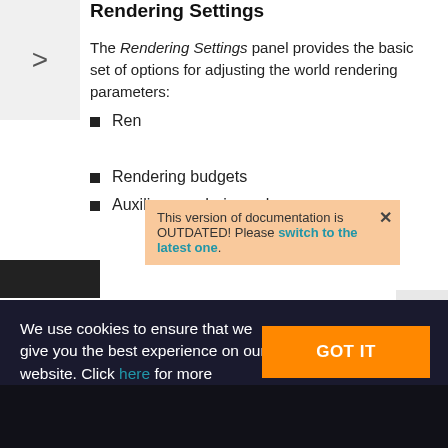Rendering Settings
The Rendering Settings panel provides the basic set of options for adjusting the world rendering parameters:
Rendering modes
Rendering budgets
Auxiliary rendering colors
This version of documentation is OUTDATED! Please switch to the latest one.
We use cookies to ensure that we give you the best experience on our website. Click here for more information.